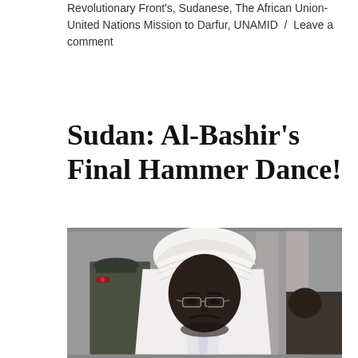Revolutionary Front's, Sudanese, The African Union-United Nations Mission to Darfur, UNAMID / Leave a comment
Sudan: Al-Bashir's Final Hammer Dance!
[Figure (photo): Photograph of a man in white turban and white robes, with a military officer saluting in the background to his left, and another person partially visible on the right.]